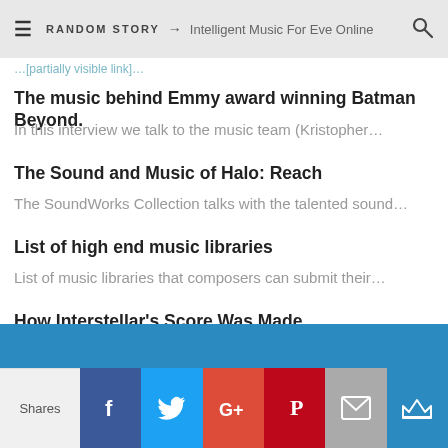RANDOM STORY → Intelligent Music For Eve Online
…[partially visible link text]…
The music behind Emmy award winning Batman Beyond.
In this interview we talk to the music team (Kristopher…
The Sound and Music of Halo: Reach
The SoundWorks Collection talks with the talented sound…
List of high end music libraries
List of music libraries that composers can submit their…
How Interstellar's Score Was Made
The mini-doc offers further details about Nolan and Zim…
Selling your SFX library online
We look at the current services that sell your SFX libr…
Shares | Facebook | Twitter | Google+ | Pinterest | Mail | Crown